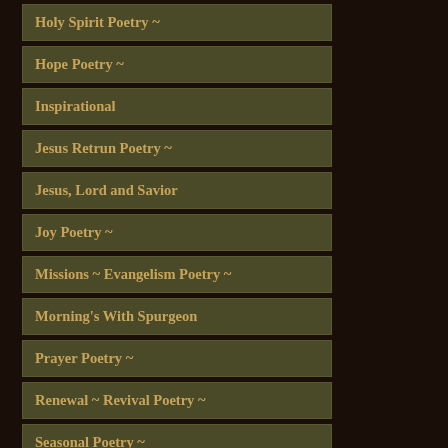Holy Spirit Poetry ~
Hope Poetry ~
Inspirational
Jesus Retrun Poetry ~
Jesus, Lord and Savior
Joy Poetry ~
Missions ~ Evangelism Poetry ~
Morning's With Spurgeon
Prayer Poetry ~
Renewal ~ Revival Poetry ~
Seasonal Poetry ~
Snippet of the Day ~